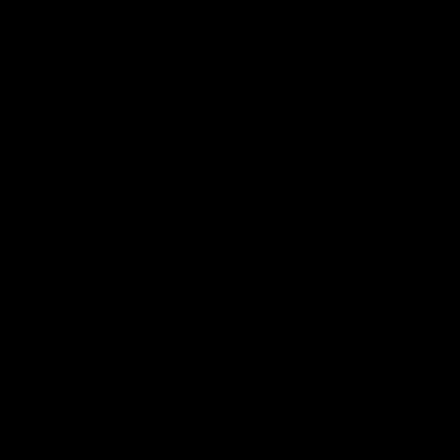[Figure (photo): Completely black image or photograph with no visible content]